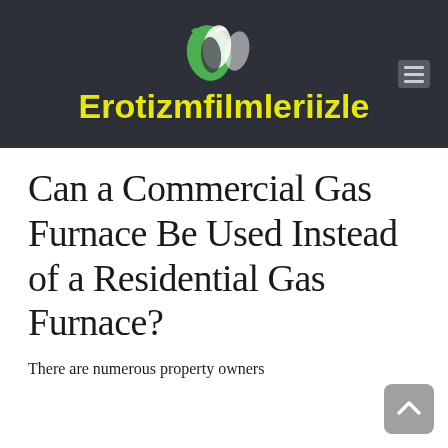[Figure (logo): Erotizmfilmleriizle website logo with green and white stylized figures above yellow bold text on dark background]
Can a Commercial Gas Furnace Be Used Instead of a Residential Gas Furnace?
There are numerous property owners